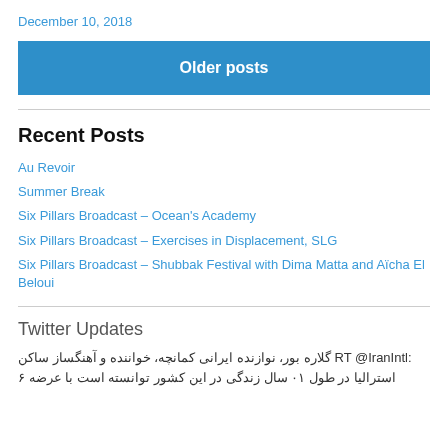December 10, 2018
Older posts
Recent Posts
Au Revoir
Summer Break
Six Pillars Broadcast – Ocean's Academy
Six Pillars Broadcast – Exercises in Displacement, SLG
Six Pillars Broadcast – Shubbak Festival with Dima Matta and Aïcha El Beloui
Twitter Updates
RT @IranIntl: گلاره بور، نوازنده ایرانی کمانچه، خواننده و آهنگساز ساکن استرالیا در طول ۱۰ سال زندگی در این کشور توانسته است با عرضه ۶